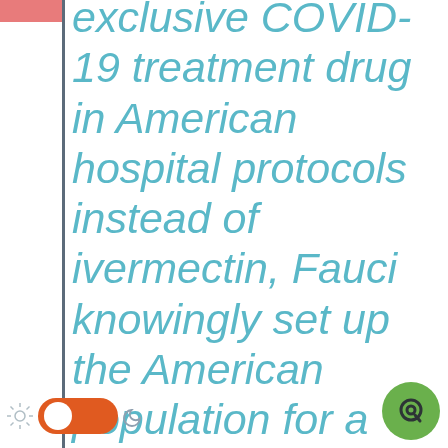exclusive COVID-19 treatment drug in American hospital protocols instead of ivermectin, Fauci knowingly set up the American population for a